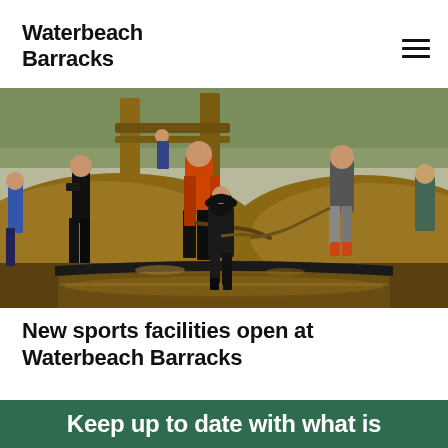Waterbeach Barracks
[Figure (photo): Children playing in muddy water at an outdoor activity area with dirt mounds and ropes, with adults and a wooden structure visible in the background.]
New sports facilities open at Waterbeach Barracks
Keep up to date with what is